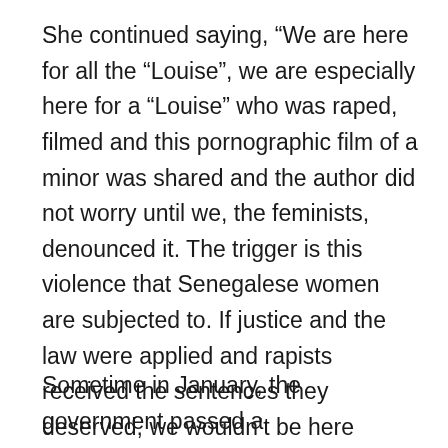She continued saying, “We are here for all the “Louise”, we are especially here for a “Louise” who was raped, filmed and this pornographic film of a minor was shared and the author did not worry until we, the feminists, denounced it. The trigger is this violence that Senegalese women are subjected to. If justice and the law were applied and rapists received the sentences they deserved, we wouldn’t be here today.”
Sometime in January, the government passed a